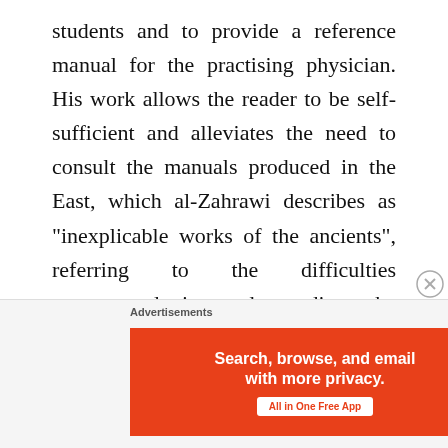students and to provide a reference manual for the practising physician. His work allows the reader to be self-sufficient and alleviates the need to consult the manuals produced in the East, which al-Zahrawi describes as “inexplicable works of the ancients”, referring to the difficulties encountered in understanding the Arabic translations of Greek medical texts. However, this comment does not mean that he did not know the contributions of Arabic classical oriental medicine – quite the contrary. The Tasrif is
Advertisements
[Figure (other): DuckDuckGo advertisement banner: orange left panel with text 'Search, browse, and email with more privacy. All in One Free App' and dark right panel with DuckDuckGo logo and name.]